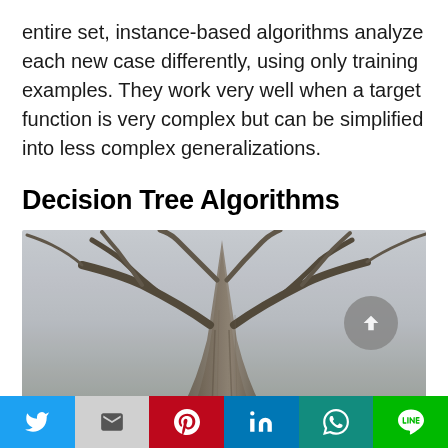entire set, instance-based algorithms analyze each new case differently, using only training examples. They work very well when a target function is very complex but can be simplified into less complex generalizations.
Decision Tree Algorithms
[Figure (photo): Upward-looking photograph of a large bare tree trunk and branches against an overcast sky, in muted grey-green tones.]